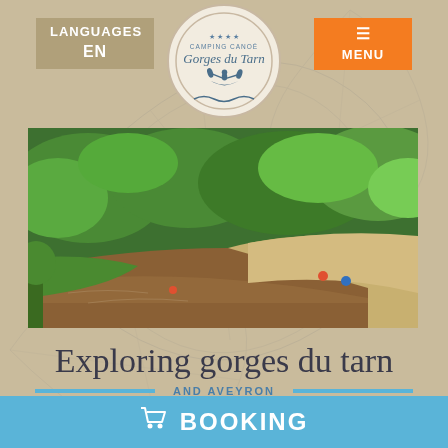[Figure (logo): Camping Canoë Gorges du Tarn logo in circular badge with kayaker silhouette]
LANGUAGES EN
MENU
[Figure (photo): Aerial view of the Gorges du Tarn river with green trees, sandy banks, and kayakers on the water]
Exploring gorges du tarn
AND AVEYRON
BOOKING